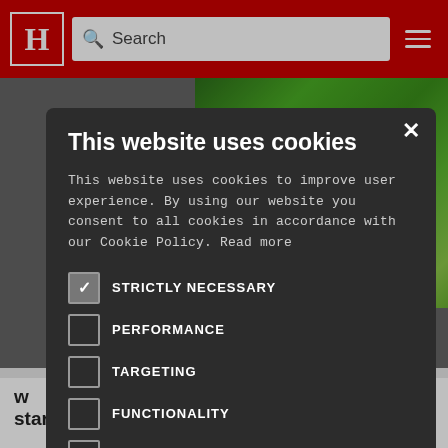[Figure (screenshot): Website header navigation bar with red background, white H logo, search bar, and hamburger menu icon]
[Figure (photo): Background showing green foliage and partial view of a person in colorful clothing]
This website uses cookies
This website uses cookies to improve user experience. By using our website you consent to all cookies in accordance with our Cookie Policy. Read more
STRICTLY NECESSARY (checked)
PERFORMANCE
TARGETING
FUNCTIONALITY
UNCLASSIFIED
ACCEPT ALL
DECLINE ALL
SHOW DETAILS
W nclusion star